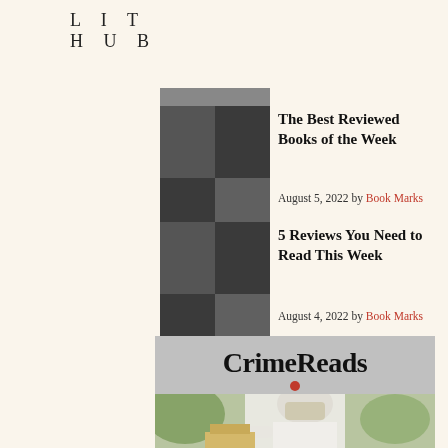LIT HUB
[Figure (illustration): Checkerboard-style dark gray thumbnail image for first article]
The Best Reviewed Books of the Week
August 5, 2022 by Book Marks
[Figure (illustration): Checkerboard-style dark gray thumbnail image for second article]
5 Reviews You Need to Read This Week
August 4, 2022 by Book Marks
[Figure (logo): CrimeReads logo on gray background with red drop icon]
[Figure (photo): Person in white beekeeper suit working with beehives outdoors]